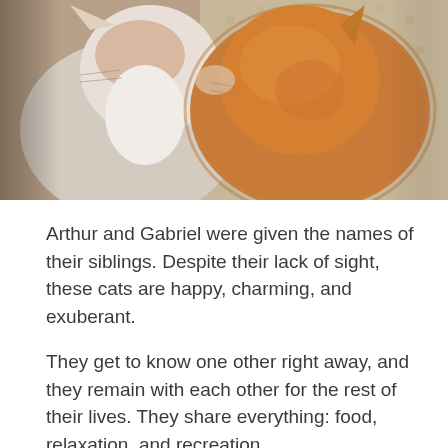[Figure (photo): Two cats close together — one white and orange (left), one fluffy golden/orange (right) — photographed on a patterned surface. The cats appear to be nuzzling or touching noses.]
Arthur and Gabriel were given the names of their siblings. Despite their lack of sight, these cats are happy, charming, and exuberant.
They get to know one other right away, and they remain with each other for the rest of their lives. They share everything: food, relaxation, and recreation.